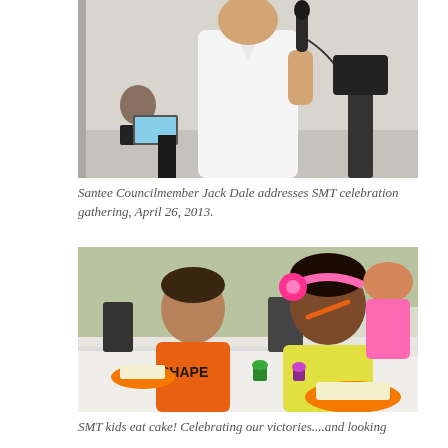[Figure (photo): Person in white shirt holding a microphone, speaking at a podium or event. Another person visible in background at a laptop.]
Santee Councilmember Jack Dale addresses SMT celebration gathering, April 26, 2013.
[Figure (photo): Two children sitting at a table eating cake on orange plates. One child in orange shirt, the other in a colorful outfit with a pink headband, eating with an orange spoon.]
SMT kids eat cake! Celebrating our victories....and looking